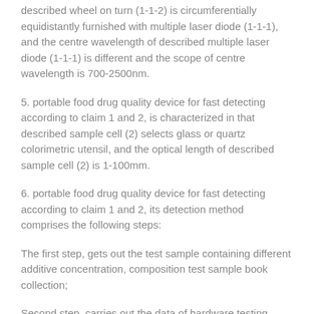described wheel on turn (1-1-2) is circumferentially equidistantly furnished with multiple laser diode (1-1-1), and the centre wavelength of described multiple laser diode (1-1-1) is different and the scope of centre wavelength is 700-2500nm.
5. portable food drug quality device for fast detecting according to claim 1 and 2, is characterized in that described sample cell (2) selects glass or quartz colorimetric utensil, and the optical length of described sample cell (2) is 1-100mm.
6. portable food drug quality device for fast detecting according to claim 1 and 2, its detection method comprises the following steps:
The first step, gets out the test sample containing different additive concentration, composition test sample book collection;
Second step, carries out the data of hardware testing collected specimens;
3rd step, carries out data processing to the sample data